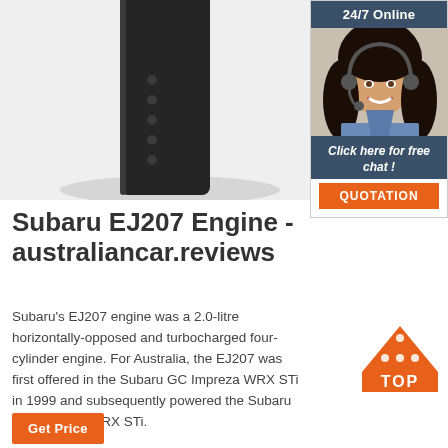[Figure (photo): Dark black rectangular device product photo on white/grey background]
[Figure (infographic): 24/7 Online chat widget with female customer service agent wearing headset, 'Click here for free chat!' text, and orange QUOTATION button]
Subaru EJ207 Engine - australiancar.reviews
Subaru's EJ207 engine was a 2.0-litre horizontally-opposed and turbocharged four-cylinder engine. For Australia, the EJ207 was first offered in the Subaru GC Impreza WRX STi in 1999 and subsequently powered the Subaru GD Impreza WRX STi.
[Figure (infographic): Orange TOP button with triangle arrow pointing up and dots]
Get Price